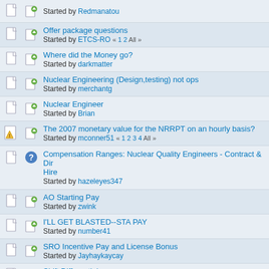Started by Redmanatou
Offer package questions
Started by ETCS-RO « 1 2 All »
Where did the Money go?
Started by darkmatter
Nuclear Engineering (Design,testing) not ops
Started by merchantg
Nuclear Engineer
Started by Brian
The 2007 monetary value for the NRRPT on an hourly basis?
Started by mconner51 « 1 2 3 4 All »
Compensation Ranges: Nuclear Quality Engineers - Contract & Direct Hire
Started by hazeleyes347
AO Starting Pay
Started by zwink
I'LL GET BLASTED--STA PAY
Started by number41
SRO Incentive Pay and License Bonus
Started by Jayhaykaycay
Shift Differential
Started by JnyMac
Sr I&C tech salary